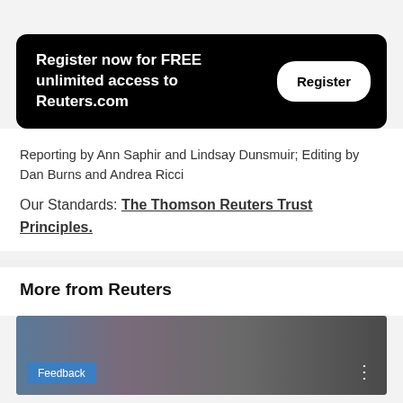[Figure (other): Black banner with 'Register now for FREE unlimited access to Reuters.com' text and a white 'Register' button]
Reporting by Ann Saphir and Lindsay Dunsmuir; Editing by Dan Burns and Andrea Ricci
Our Standards: The Thomson Reuters Trust Principles.
More from Reuters
[Figure (photo): Partially visible crowd photo with a blue 'Feedback' button overlay and a vertical dots menu icon]